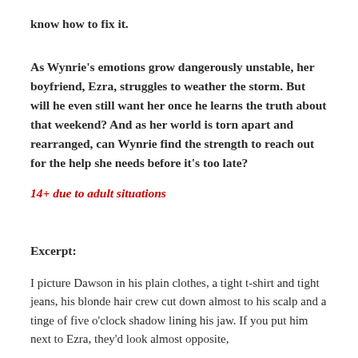know how to fix it.
As Wynrie's emotions grow dangerously unstable, her boyfriend, Ezra, struggles to weather the storm. But will he even still want her once he learns the truth about that weekend? And as her world is torn apart and rearranged, can Wynrie find the strength to reach out for the help she needs before it's too late?
14+ due to adult situations
Excerpt:
I picture Dawson in his plain clothes, a tight t-shirt and tight jeans, his blonde hair crew cut down almost to his scalp and a tinge of five o'clock shadow lining his jaw. If you put him next to Ezra, they'd look almost opposite,